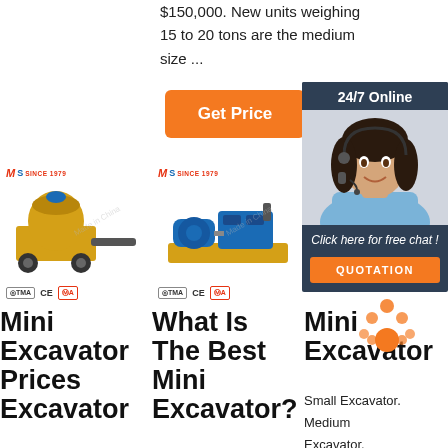$150,000. New units weighing 15 to 20 tons are the medium size ...
Get Price
[Figure (infographic): 24/7 Online chat panel with woman wearing headset and Quotation button]
[Figure (photo): Industrial plastering machine on wheeled cart with yellow drum - product photo with MLS SINCE 1979 brand logo and CE MA certifications]
[Figure (photo): Industrial pump or compressor machine in blue/orange - product photo with MLS SINCE 1979 brand logo and CE MA certifications]
Mini Excavator Prices Excavator
What Is The Best Mini Excavator?
Mini Excavator
Small Excavator.
Medium Excavator.